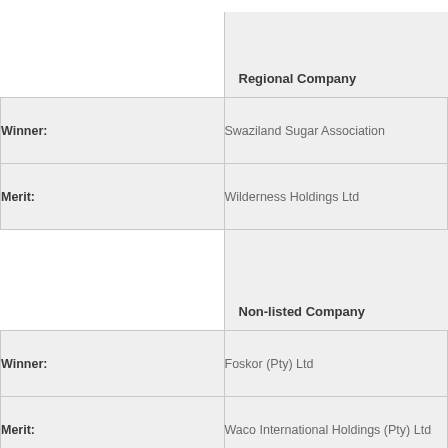Regional Company
| Winner: | Swaziland Sugar Association |
| Merit: | Wilderness Holdings Ltd |
Non-listed Company
| Winner: | Foskor (Pty) Ltd |
| Merit: | Waco International Holdings (Pty) Ltd |
Public sector